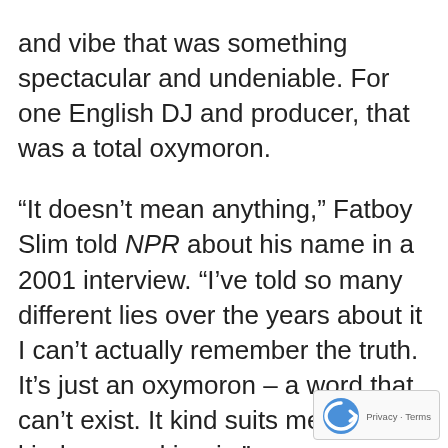and vibe that was something spectacular and undeniable. For one English DJ and producer, that was a total oxymoron.
“It doesn’t mean anything,” Fatboy Slim told NPR about his name in a 2001 interview. “I’ve told so many different lies over the years about it I can’t actually remember the truth. It’s just an oxymoron – a word that can’t exist. It kind suits me – it’s kind goy and ironic.”
He experienced quite the career peak in the late ’90s and early 2000s, dazzling American audiences with his fresh blend breakbeats, rock’n’roll and electro-house. When the dance music explosion the late aughts took the States by storm, he